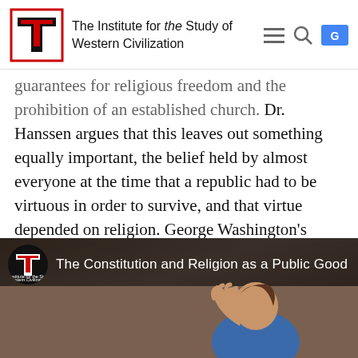The Institute for the Study of Western Civilization
guarantees for religious freedom and the prohibition of an established church. Dr. Hanssen argues that this leaves out something equally important, the belief held by almost everyone at the time that a republic had to be virtuous in order to survive, and that virtue depended on religion. George Washington's notion of religion as a public good is examined as an illustration of this widespread conviction.
[Figure (screenshot): Video thumbnail for 'The Constitution and Religion as a Public Good' featuring the Institute for the Study of Western Civilization logo and a woman speaking with her hand raised.]